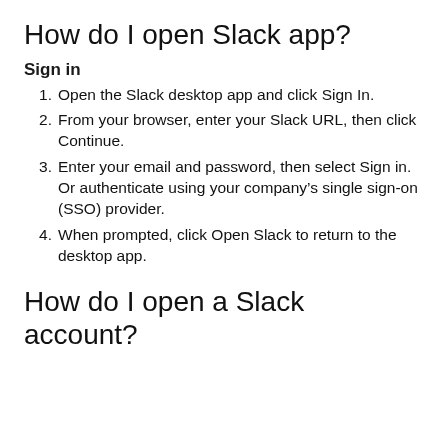How do I open Slack app?
Sign in
Open the Slack desktop app and click Sign In.
From your browser, enter your Slack URL, then click Continue.
Enter your email and password, then select Sign in. Or authenticate using your company’s single sign-on (SSO) provider.
When prompted, click Open Slack to return to the desktop app.
How do I open a Slack account?